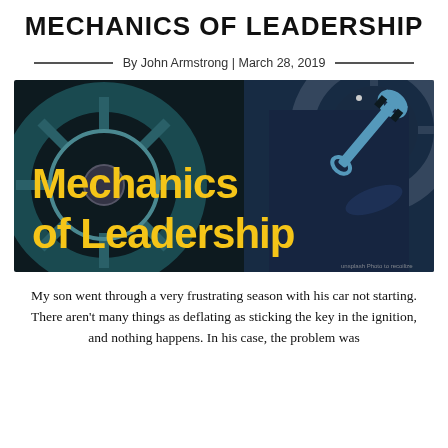MECHANICS OF LEADERSHIP
By John Armstrong | March 28, 2019
[Figure (photo): Dark-toned photo of a mechanic in a blue uniform holding a wrench, with car wheels in the background. Bold yellow text overlay reads 'Mechanics of Leadership'. Small watermark text in bottom right corner reads 'unsplash Photo to recoilize'.]
My son went through a very frustrating season with his car not starting. There aren't many things as deflating as sticking the key in the ignition, and nothing happens. In his case, the problem was